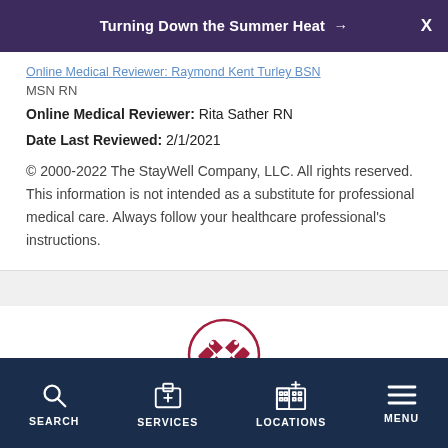Turning Down the Summer Heat →  X
Online Medical Reviewer: Raymond Kent Turley BSN MSN RN
Online Medical Reviewer: Rita Sather RN
Date Last Reviewed: 2/1/2021
© 2000-2022 The StayWell Company, LLC. All rights reserved. This information is not intended as a substitute for professional medical care. Always follow your healthcare professional's instructions.
[Figure (illustration): Red bandage/cross icon inside a circle, representing Find a Doctor]
Find a Doctor
SEARCH  SERVICES  LOCATIONS  MENU